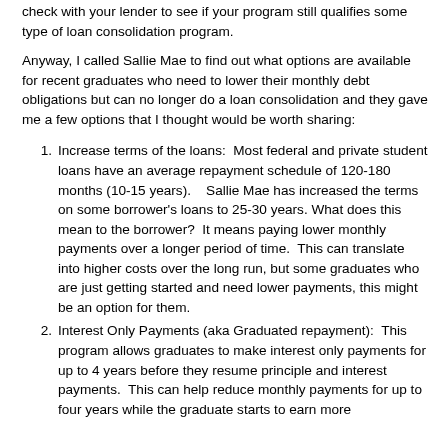check with your lender to see if your program still qualifies some type of loan consolidation program.
Anyway, I called Sallie Mae to find out what options are available for recent graduates who need to lower their monthly debt obligations but can no longer do a loan consolidation and they gave me a few options that I thought would be worth sharing:
Increase terms of the loans:  Most federal and private student loans have an average repayment schedule of 120-180 months (10-15 years).   Sallie Mae has increased the terms on some borrower's loans to 25-30 years. What does this mean to the borrower?  It means paying lower monthly payments over a longer period of time.  This can translate into higher costs over the long run, but some graduates who are just getting started and need lower payments, this might be an option for them.
Interest Only Payments (aka Graduated repayment):  This program allows graduates to make interest only payments for up to 4 years before they resume principle and interest payments.  This can help reduce monthly payments for up to four years while the graduate starts to earn more